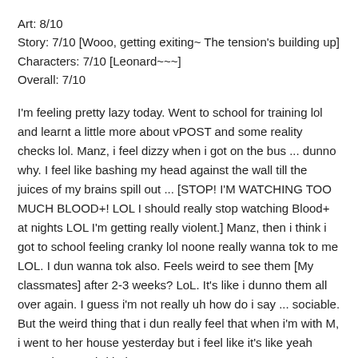Art: 8/10
Story: 7/10 [Wooo, getting exiting~ The tension's building up]
Characters: 7/10 [Leonard~~~]
Overall: 7/10
I'm feeling pretty lazy today. Went to school for training lol and learnt a little more about vPOST and some reality checks lol. Manz, i feel dizzy when i got on the bus ... dunno why. I feel like bashing my head against the wall till the juices of my brains spill out ... [STOP! I'M WATCHING TOO MUCH BLOOD+! LOL I should really stop watching Blood+ at nights LOL I'm getting really violent.] Manz, then i think i got to school feeling cranky lol noone really wanna tok to me LOL. I dun wanna tok also. Feels weird to see them [My classmates] after 2-3 weeks? LoL. It's like i dunno them all over again. I guess i'm not really uh how do i say ... sociable. But the weird thing that i dun really feel that when i'm with M, i went to her house yesterday but i feel like it's like yeah normal. I'm weird huh.
My nose is killing me too lol, i dunno why my nose's so